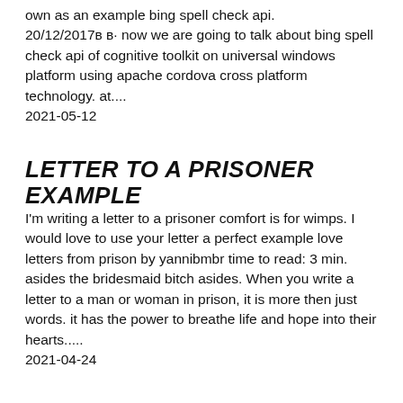own as an example bing spell check api. 20/12/2017в в· now we are going to talk about bing spell check api of cognitive toolkit on universal windows platform using apache cordova cross platform technology. at.... 2021-05-12
LETTER TO A PRISONER EXAMPLE
I'm writing a letter to a prisoner comfort is for wimps. I would love to use your letter a perfect example love letters from prison by yannibmbr time to read: 3 min. asides the bridesmaid bitch asides. When you write a letter to a man or woman in prison, it is more then just words. it has the power to breathe life and hope into their hearts..... 2021-04-24